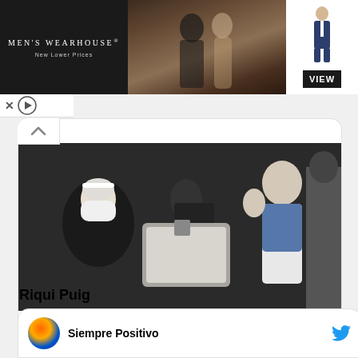[Figure (photo): Men's Wearhouse advertisement banner showing a couple in formal wear and a child in a suit with a VIEW button]
[Figure (photo): Photo of a person in a mask and face shield at a voting station, another person giving thumbs up inserting ballot into box]
11:19 AM · Mar 7, 2021
39  Reply  Copy link
Explore what's happening on Twitter
Riqui Puig
Siempre Positivo